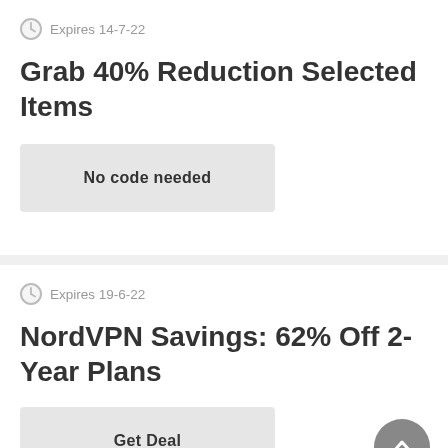Expires 14-7-22
Grab 40% Reduction Selected Items
No code needed
Expires 19-6-22
NordVPN Savings: 62% Off 2-Year Plans
Get Deal